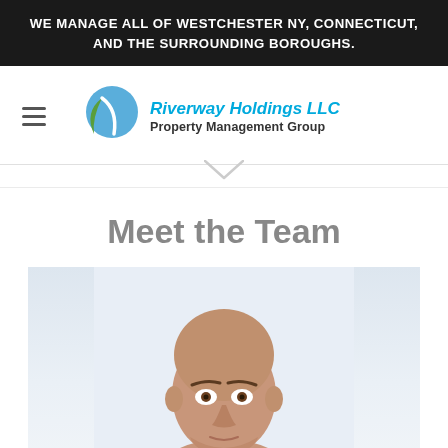WE MANAGE ALL OF WESTCHESTER NY, CONNECTICUT, AND THE SURROUNDING BOROUGHS.
[Figure (logo): Riverway Holdings LLC Property Management Group logo with blue and green leaf/river emblem]
Meet the Team
[Figure (photo): Close-up portrait photo of a bald man against a light background]